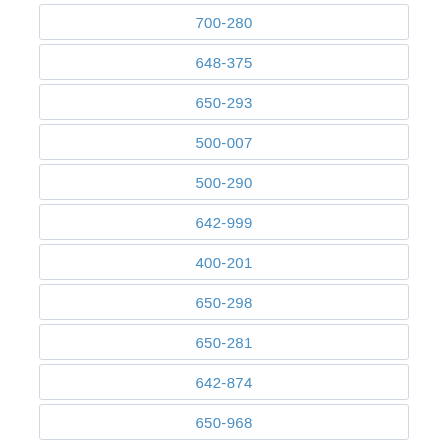700-280
648-375
650-293
500-007
500-290
642-999
400-201
650-298
650-281
642-874
650-968